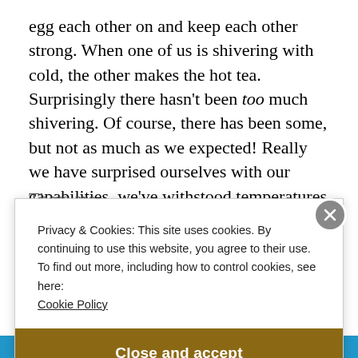egg each other on and keep each other strong. When one of us is shivering with cold, the other makes the hot tea. Surprisingly there hasn't been too much shivering. Of course, there has been some, but not as much as we expected! Really we have surprised ourselves with our capabilities, we've withstood temperatures that we really didn't think we could stand. It's quite amazing what the human body is capable of when you push yourself a little further.
Privacy & Cookies: This site uses cookies. By continuing to use this website, you agree to their use.
To find out more, including how to control cookies, see here: Cookie Policy
Close and accept